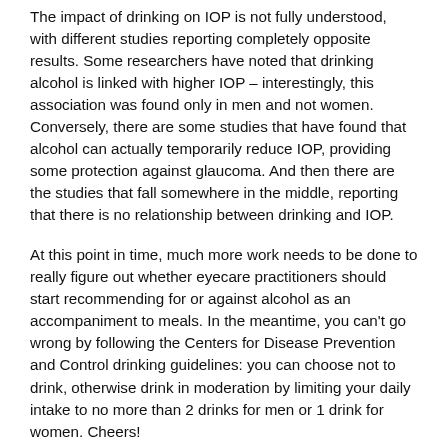The impact of drinking on IOP is not fully understood, with different studies reporting completely opposite results. Some researchers have noted that drinking alcohol is linked with higher IOP – interestingly, this association was found only in men and not women. Conversely, there are some studies that have found that alcohol can actually temporarily reduce IOP, providing some protection against glaucoma. And then there are the studies that fall somewhere in the middle, reporting that there is no relationship between drinking and IOP.
At this point in time, much more work needs to be done to really figure out whether eyecare practitioners should start recommending for or against alcohol as an accompaniment to meals. In the meantime, you can't go wrong by following the Centers for Disease Prevention and Control drinking guidelines: you can choose not to drink, otherwise drink in moderation by limiting your daily intake to no more than 2 drinks for men or 1 drink for women. Cheers!